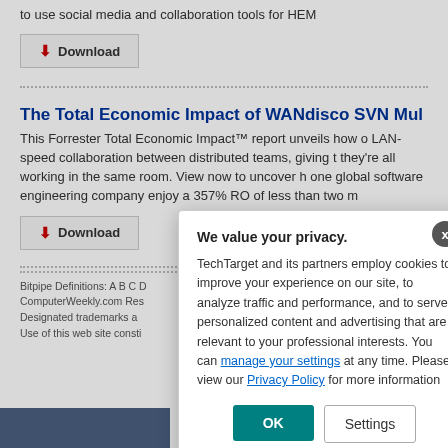to use social media and collaboration tools for HEM
Download
The Total Economic Impact of WANdisco SVN Mul
This Forrester Total Economic Impact™ report unveils how o LAN-speed collaboration between distributed teams, giving t they're all working in the same room. View now to uncover h one global software engineering company enjoy a 357% RO of less than two m
Download
Bitpipe Definitions: A B C D ComputerWeekly.com Res Designated trademarks a Use of this web site consti
We value your privacy. TechTarget and its partners employ cookies to improve your experience on our site, to analyze traffic and performance, and to serve personalized content and advertising that are relevant to your professional interests. You can manage your settings at any time. Please view our Privacy Policy for more information
OK
Settings